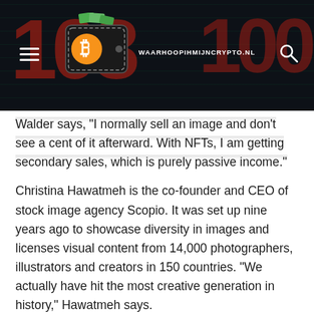WAARHOOPIHMIJNCRYPTO.NL
Walder says, "I normally sell an image and don't see a cent of it afterward. With NFTs, I am getting secondary sales, which is purely passive income."
Christina Hawatmeh is the co-founder and CEO of stock image agency Scopio. It was set up nine years ago to showcase diversity in images and licenses visual content from 14,000 photographers, illustrators and creators in 150 countries. “We actually have hit the most creative generation in history,” Hawatmeh says.
She quickly realized the potential of NFTs, so it was one of the first photo agencies to offer both conventional licensing and NFTs, on the Solana blockchain.